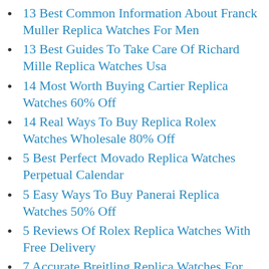13 Best Common Information About Franck Muller Replica Watches For Men
13 Best Guides To Take Care Of Richard Mille Replica Watches Usa
14 Most Worth Buying Cartier Replica Watches 60% Off
14 Real Ways To Buy Replica Rolex Watches Wholesale 80% Off
5 Best Perfect Movado Replica Watches Perpetual Calendar
5 Easy Ways To Buy Panerai Replica Watches 50% Off
5 Reviews Of Rolex Replica Watches With Free Delivery
7 Accurate Breitling Replica Watches For Mens
7 Best Reviews Top-Luxury Replica Watch...